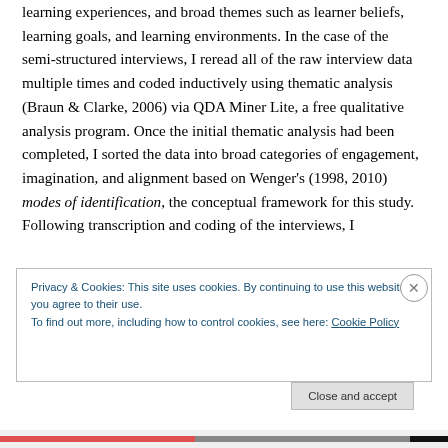learning experiences, and broad themes such as learner beliefs, learning goals, and learning environments. In the case of the semi-structured interviews, I reread all of the raw interview data multiple times and coded inductively using thematic analysis (Braun & Clarke, 2006) via QDA Miner Lite, a free qualitative analysis program. Once the initial thematic analysis had been completed, I sorted the data into broad categories of engagement, imagination, and alignment based on Wenger's (1998, 2010) modes of identification, the conceptual framework for this study. Following transcription and coding of the interviews, I
Privacy & Cookies: This site uses cookies. By continuing to use this website, you agree to their use.
To find out more, including how to control cookies, see here: Cookie Policy